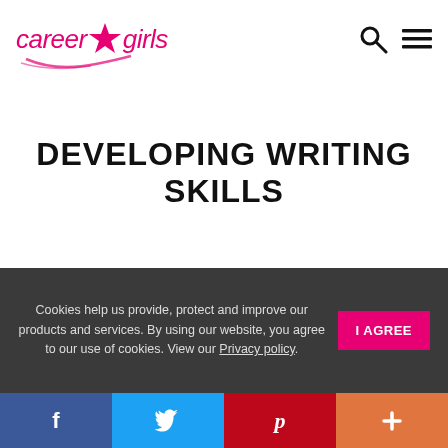career girls
DEVELOPING WRITING SKILLS
Cookies help us provide, protect and improve our products and services. By using our website, you agree to our use of cookies. View our Privacy policy.
f  Twitter  p  +